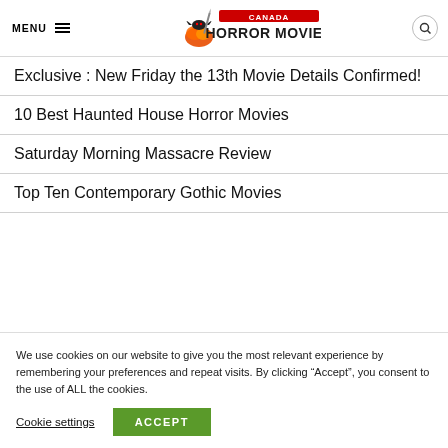MENU | Canada Horror Movies
Exclusive : New Friday the 13th Movie Details Confirmed!
10 Best Haunted House Horror Movies
Saturday Morning Massacre Review
Top Ten Contemporary Gothic Movies
We use cookies on our website to give you the most relevant experience by remembering your preferences and repeat visits. By clicking “Accept”, you consent to the use of ALL the cookies.
Cookie settings | ACCEPT